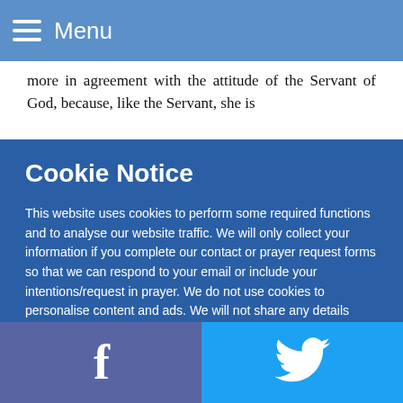Menu
more in agreement with the attitude of the Servant of God, because, like the Servant, she is
Cookie Notice
This website uses cookies to perform some required functions and to analyse our website traffic. We will only collect your information if you complete our contact or prayer request forms so that we can respond to your email or include your intentions/request in prayer. We do not use cookies to personalise content and ads. We will not share any details submitted via our contact email forms to any third party.
Accept
Facebook Twitter